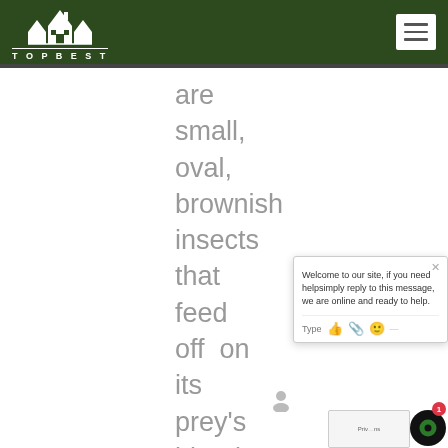TOPBEST
are small, oval, brownish insects that feed off on its prey's blood. Its
[Figure (other): Chat widget popup with message: Welcome to our site, if you need helpsimply reply to this message, we are online and ready to help. Type bar with icons.]